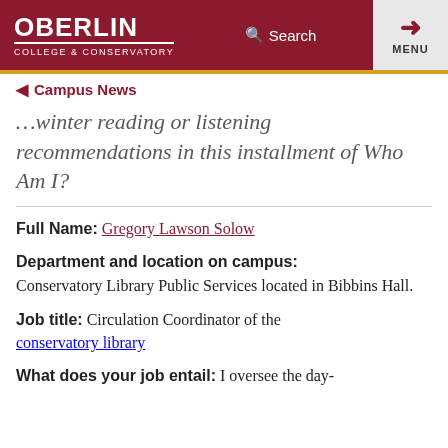OBERLIN COLLEGE & CONSERVATORY — Search — MENU
Campus News
… winter reading or listening recommendations in this installment of Who Am I?
Full Name: Gregory Lawson Solow
Department and location on campus: Conservatory Library Public Services located in Bibbins Hall.
Job title: Circulation Coordinator of the conservatory library
What does your job entail: I oversee the day-